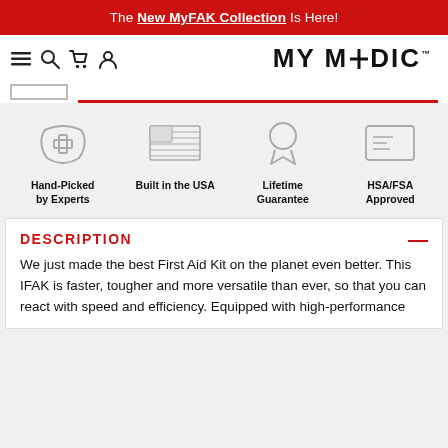The New MyFAK Collection Is Here!
[Figure (logo): MY MEDIC logo with navigation icons (hamburger menu, search, cart, user) on the left]
[Figure (infographic): Four feature icons in a row: Hand-Picked by Experts (hands with medical cross), Built in the USA (US flag), Lifetime Guarantee (ribbon/award), HSA/FSA Approved (card/document)]
DESCRIPTION
We just made the best First Aid Kit on the planet even better. This IFAK is faster, tougher and more versatile than ever, so that you can react with speed and efficiency. Equipped with high-performance